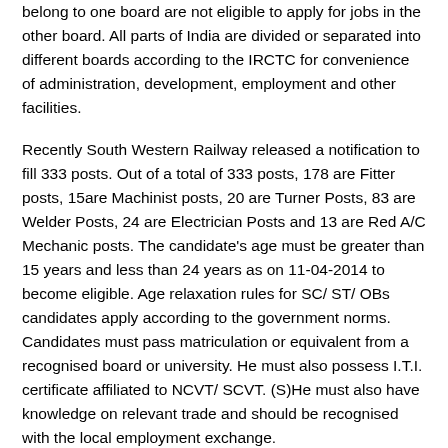belong to one board are not eligible to apply for jobs in the other board. All parts of India are divided or separated into different boards according to the IRCTC for convenience of administration, development, employment and other facilities.
Recently South Western Railway released a notification to fill 333 posts. Out of a total of 333 posts, 178 are Fitter posts, 15are Machinist posts, 20 are Turner Posts, 83 are Welder Posts, 24 are Electrician Posts and 13 are Red A/C Mechanic posts. The candidate's age must be greater than 15 years and less than 24 years as on 11-04-2014 to become eligible. Age relaxation rules for SC/ ST/ OBs candidates apply according to the government norms. Candidates must pass matriculation or equivalent from a recognised board or university. He must also possess I.T.I. certificate affiliated to NCVT/ SCVT. (S)He must also have knowledge on relevant trade and should be recognised with the local employment exchange.